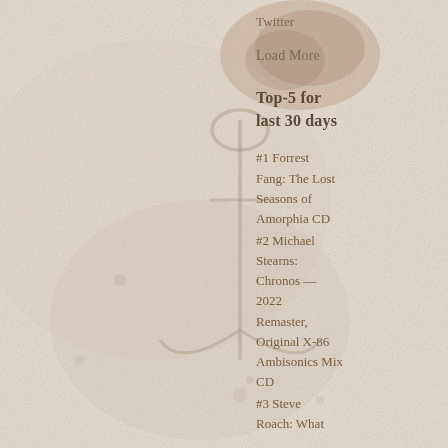[Figure (photo): Textured pale cream/beige background with brown stain marks and abstract anchor-like shape, taking up the left two-thirds of the page.]
Twitter
Load More
Top-5 for last 30 days
#1 Forrest Fang: The Lost Seasons of Amorphia CD
#2 Michael Stearns: Chronos — 2022 Remaster, Original X-86 Ambisonics Mix CD
#3 Steve Roach: What